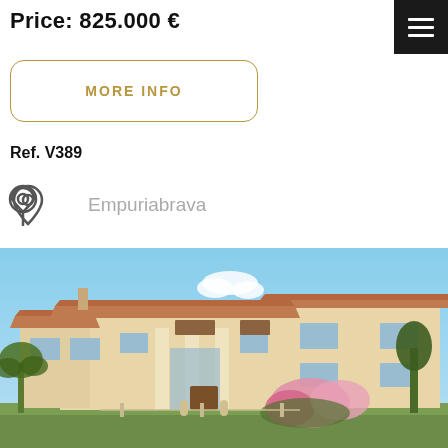Price: 825.000 €
MORE INFO
Ref. V389
Empuriabrava
[Figure (photo): Exterior photo of a large two-storey Mediterranean villa with terracotta tiled roof, cream/beige rendered walls, arched entry columns, multiple windows, surrounded by palm trees and flowering shrubs with pink flowers, under a clear blue sky.]